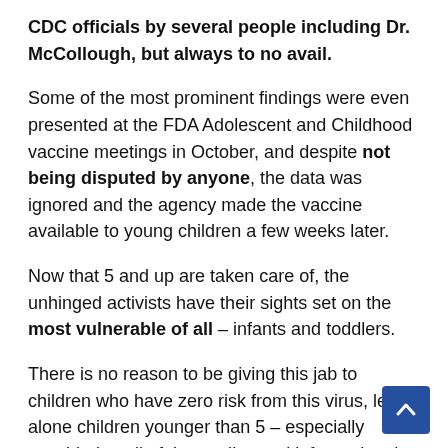CDC officials by several people including Dr. McCollough, but always to no avail.
Some of the most prominent findings were even presented at the FDA Adolescent and Childhood vaccine meetings in October, and despite not being disputed by anyone, the data was ignored and the agency made the vaccine available to young children a few weeks later.
Now that 5 and up are taken care of, the unhinged activists have their sights set on the most vulnerable of all – infants and toddlers.
There is no reason to be giving this jab to children who have zero risk from this virus, let alone children younger than 5 – especially considering all of the studies and information that shows a link between